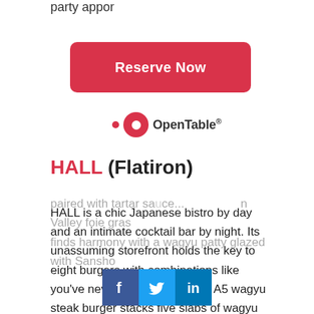party appor
[Figure (other): Red rounded rectangle button labeled 'Reserve Now']
[Figure (logo): OpenTable logo with red dot and circle icon]
HALL (Flatiron)
HALL is a chic Japanese bistro by day and an intimate cocktail bar by night. Its unassuming storefront holds the key to eight burgers with combinations like you've never seen before. The A5 wagyu steak burger stacks five slabs of wagyu steak atop of a wagyu patty, while the black cod burger is coated in miso charcoal crust paired with tartar sa... n Valley foie gras finds harmony with a wagyu patty glazed with Sansho
[Figure (other): Social media icons: Facebook, Twitter, LinkedIn]